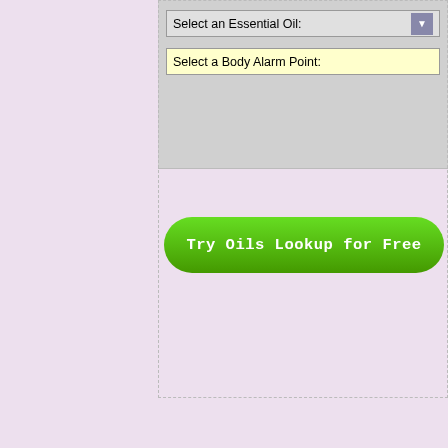[Figure (screenshot): UI widget showing 'Select an Essential Oil' dropdown and 'Select a Body Alarm Point' yellow input field on grey background]
[Figure (screenshot): Green rounded button with text 'Try Oils Lookup for Free']
Releasing Emotional Patterns with Essential Oil
NEW - The 2022 Addendum includes all new emotions and oils added since the 10th Edition was released
Have a pre-2020 edition? Addendums are available containing recen
English
Spanish
Mala
[Figure (photo): Book cover in blue - English edition of Releasing Emotional Patterns]
[Figure (photo): Book cover in blue - Spanish edition (Liberación)]
[Figure (photo): Book cover in blue - Malay edition]